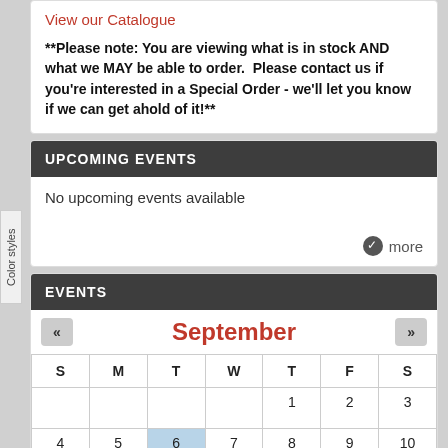View our Catalogue
**Please note: You are viewing what is in stock AND what we MAY be able to order.  Please contact us if you're interested in a Special Order - we'll let you know if we can get ahold of it!**
UPCOMING EVENTS
No upcoming events available
more
EVENTS
September
| S | M | T | W | T | F | S |
| --- | --- | --- | --- | --- | --- | --- |
|  |  |  |  | 1 | 2 | 3 |
| 4 | 5 | 6 | 7 | 8 | 9 | 10 |